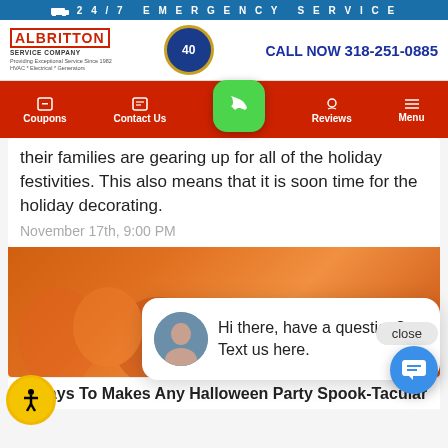🚚  24/7 EMERGENCY SERVICE
[Figure (screenshot): Albritton Service Company logo with 40th anniversary badge and CALL NOW 318-251-0885]
[Figure (screenshot): Red navigation bar with Coupons, Contact Us, phone button, Reviews, Menu items]
their families are gearing up for all of the holiday festivities. This also means that it is soon time for the holiday decorating.
November 17th, 9:00 PM
[Figure (photo): Halloween party scene with orange decorations and baskets]
Hi there, have a question? Text us here.
3 Ways To Makes Any Halloween Party Spook-Tacular